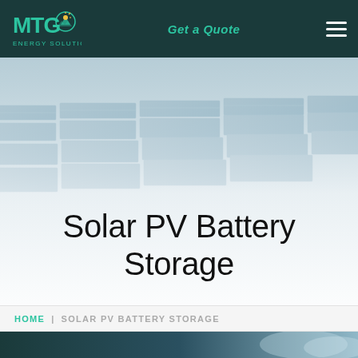MTG Energy Solutions — Get a Quote
[Figure (photo): Aerial/perspective view of large commercial rooftop solar PV panels, faded with white overlay. Page title 'Solar PV Battery Storage' overlaid in dark text.]
Solar PV Battery Storage
HOME | SOLAR PV BATTERY STORAGE
[Figure (photo): Partial view of another section with dark teal and blue gradient background, partially visible at the bottom of the page.]